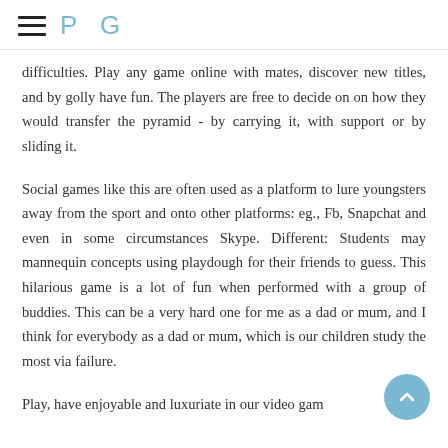PG
difficulties. Play any game online with mates, discover new titles, and by golly have fun. The players are free to decide on on how they would transfer the pyramid - by carrying it, with support or by sliding it.
Social games like this are often used as a platform to lure youngsters away from the sport and onto other platforms: eg., Fb, Snapchat and even in some circumstances Skype. Different: Students may mannequin concepts using playdough for their friends to guess. This hilarious game is a lot of fun when performed with a group of buddies. This can be a very hard one for me as a dad or mum, and I think for everybody as a dad or mum, which is our children study the most via failure.
Play, have enjoyable and luxuriate in our video gam...